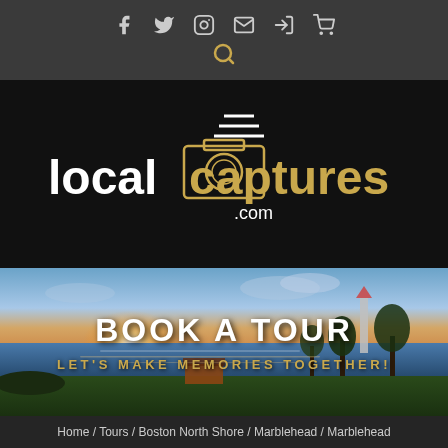[Figure (screenshot): Top navigation bar with social media icons (Facebook, Twitter, Instagram, Email, Login, Cart) and search icon on dark grey background]
[Figure (logo): localcaptures.com logo — white 'local' text and gold 'captures' text with camera icon graphic, on black background]
[Figure (photo): Panoramic coastal sunset photo with lighthouse, water, dock building, and trees. Overlaid bold white text 'BOOK A TOUR' and gold text 'LET'S MAKE MEMORIES TOGETHER!']
Home / Tours / Boston North Shore / Marblehead / Marblehead